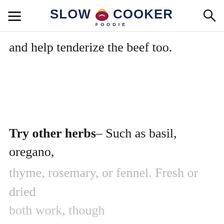SLOW COOKER FOODIE
and help tenderize the beef too.
Try other herbs– Such as basil, oregano, thyme, rosemary, or fennel. Fresh or dried both work, though...